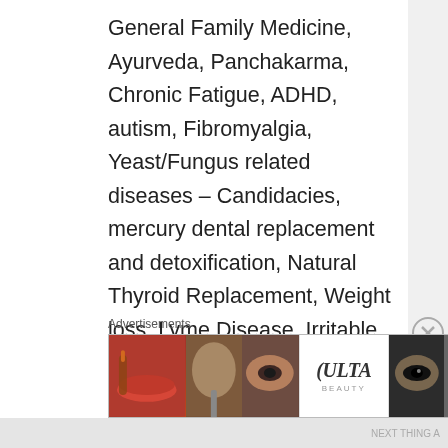General Family Medicine, Ayurveda, Panchakarma, Chronic Fatigue, ADHD, autism, Fibromyalgia, Yeast/Fungus related diseases – Candidacies, mercury dental replacement and detoxification, Natural Thyroid Replacement, Weight loss, Lyme Disease, Irritable Bowel Disease, Attention Deficit Disorder, Pervasive Developmental Disorders, Multiple Chemical Sensitivities, Addiction related programs, Intestinal Dysbiosis, as well as trigger point therapy
[Figure (other): ULTA Beauty advertisement banner showing makeup/beauty images with 'SHOP NOW' call to action]